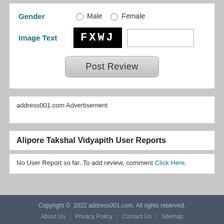Gender  Male  Female
[Figure (screenshot): CAPTCHA image showing text FXWJ on black background next to an input field, labeled Image Text]
[Figure (screenshot): Post Review button]
address001.com Advertisement
Alipore Takshal Vidyapith User Reports
No User Report so far. To add review, comment Click Here.
Copyright © 2022 address001.com. All rights reserved. About Us | Privacy Policy | Contact Us | Sitemap